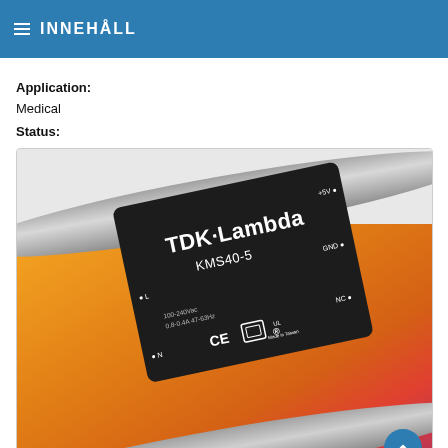INNEHÅLL
Application:
Medical
Status:
[Figure (photo): Photo of a TDK-Lambda KMS40-5 medical power supply module — a black rectangular component with the TDK-Lambda brand name and model KMS40-5 printed on it, along with CE and UL certification marks, placed at an angle against an orange/gold gradient background with gray cylindrical cables.]